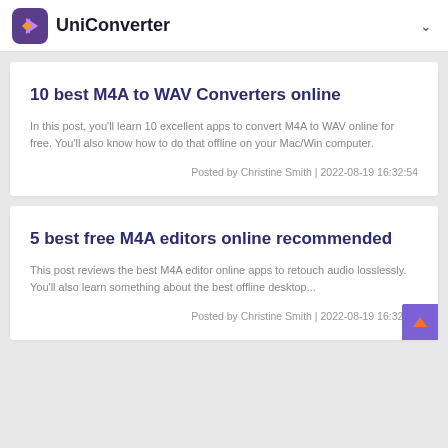UniConverter
10 best M4A to WAV Converters online
In this post, you'll learn 10 excellent apps to convert M4A to WAV online for free. You'll also know how to do that offline on your Mac/Win computer.
Posted by Christine Smith | 2022-08-19 16:32:54
5 best free M4A editors online recommended
This post reviews the best M4A editor online apps to retouch audio losslessly. You'll also learn something about the best offline desktop...
Posted by Christine Smith | 2022-08-19 16:32:54